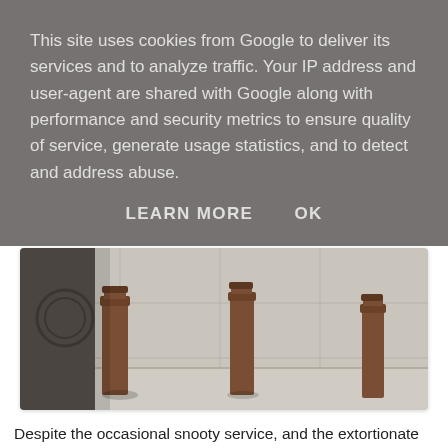This site uses cookies from Google to deliver its services and to analyze traffic. Your IP address and user-agent are shared with Google along with performance and security metrics to ensure quality of service, generate usage statistics, and to detect and address abuse.
LEARN MORE    OK
[Figure (photo): Photograph showing wooden bollards outside a restaurant entrance with marble/stone wall background and ornate metal gate visible]
Despite the occasional snooty service, and the extortionate prices for their teas I keep going back. I love the décor, and unlike many, I do not feel that the restaurant lighting is excessively dark - I find it soothing and feel that it adds to the overall experience at Hakkasan.
[Figure (photo): Partial photo at bottom of page, dark interior scene with green light visible]